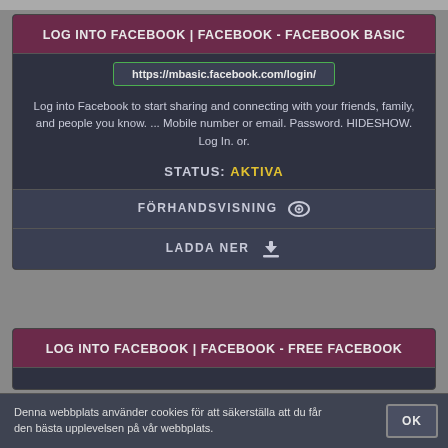LOG INTO FACEBOOK | FACEBOOK - FACEBOOK BASIC
https://mbasic.facebook.com/login/
Log into Facebook to start sharing and connecting with your friends, family, and people you know. ... Mobile number or email. Password. HIDESHOW. Log In. or.
STATUS: AKTIVA
FÖRHANDSVISNING
LADDA NER
LOG INTO FACEBOOK | FACEBOOK - FREE FACEBOOK
Denna webbplats använder cookies för att säkerställa att du får den bästa upplevelsen på vår webbplats.